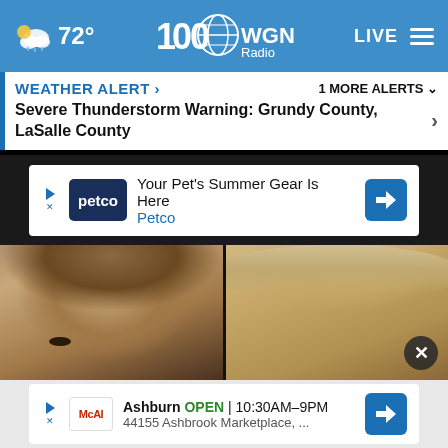72° WGN Radio 100 LIVE
WEATHER ALERT | 1 MORE ALERTS
Severe Thunderstorm Warning: Grundy County, LaSalle County
[Figure (screenshot): Petco advertisement: Your Pet's Summer Gear Is Here - Petco]
[Figure (photo): Split photo of two people's faces, cropped to show upper portions]
[Figure (screenshot): McAI advertisement: Ashburn OPEN 10:30AM-9PM, 44155 Ashbrook Marketplace, ...]